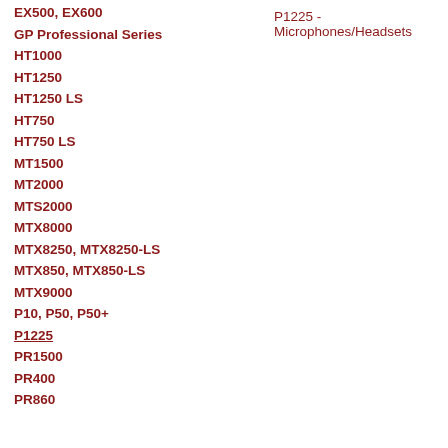EX500, EX600
P1225 - Microphones/Headsets
GP Professional Series
HT1000
HT1250
HT1250 LS
HT750
HT750 LS
MT1500
MT2000
MTS2000
MTX8000
MTX8250, MTX8250-LS
MTX850, MTX850-LS
MTX9000
P10, P50, P50+
P1225
PR1500
PR400
PR860